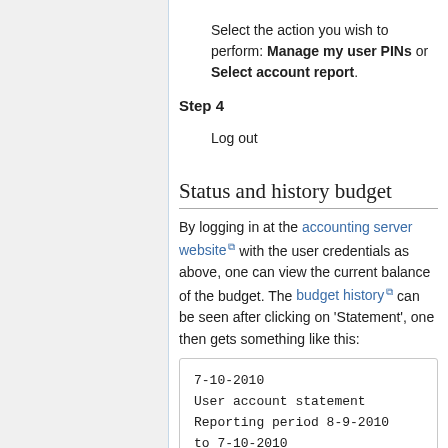Select the action you wish to perform: Manage my user PINs or Select account report.
Step 4
Log out
Status and history budget
By logging in at the accounting server website with the user credentials as above, one can view the current balance of the budget. The budget history can be seen after clicking on 'Statement', one then gets something like this:
7-10-2010
User account statement
Reporting period 8-9-2010
to 7-10-2010